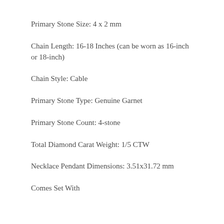Primary Stone Size: 4 x 2 mm
Chain Length: 16-18 Inches (can be worn as 16-inch or 18-inch)
Chain Style: Cable
Primary Stone Type: Genuine Garnet
Primary Stone Count: 4-stone
Total Diamond Carat Weight: 1/5 CTW
Necklace Pendant Dimensions: 3.51x31.72 mm
Comes Set With